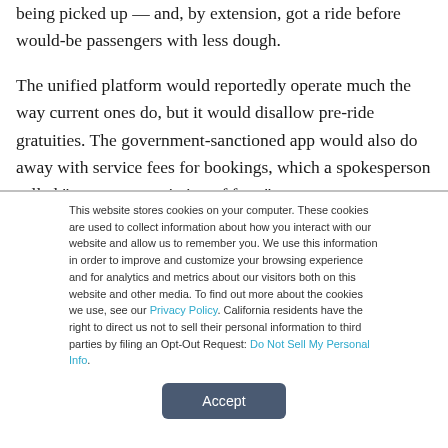being picked up — and, by extension, got a ride before would-be passengers with less dough.
The unified platform would reportedly operate much the way current ones do, but it would disallow pre-ride gratuities. The government-sanctioned app would also do away with service fees for bookings, which a spokesperson called “a covert negotiation of fees.”
This website stores cookies on your computer. These cookies are used to collect information about how you interact with our website and allow us to remember you. We use this information in order to improve and customize your browsing experience and for analytics and metrics about our visitors both on this website and other media. To find out more about the cookies we use, see our Privacy Policy. California residents have the right to direct us not to sell their personal information to third parties by filing an Opt-Out Request: Do Not Sell My Personal Info.
Accept